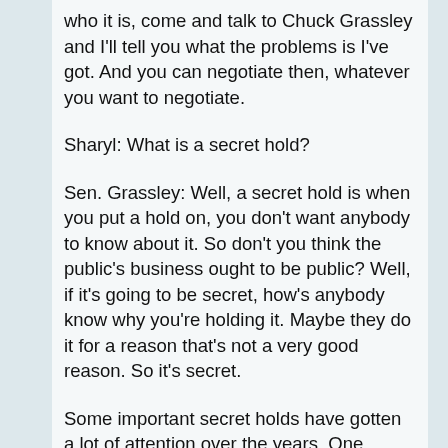who it is, come and talk to Chuck Grassley and I'll tell you what the problems is I've got. And you can negotiate then, whatever you want to negotiate.
Sharyl: What is a secret hold?
Sen. Grassley: Well, a secret hold is when you put a hold on, you don't want anybody to know about it. So don't you think the public's business ought to be public? Well, if it's going to be secret, how's anybody know why you're holding it. Maybe they do it for a reason that's not a very good reason. So it's secret.
Some important secret holds have gotten a lot of attention over the years. One senator's secret hold killed a new Whistleblower bill to